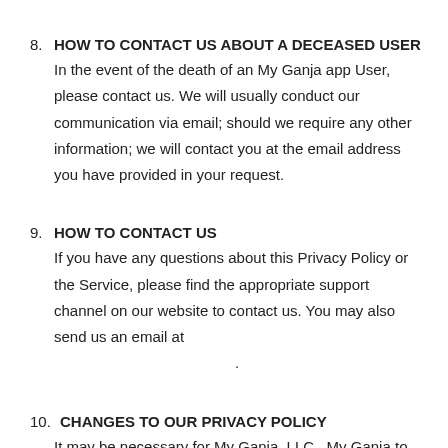8. HOW TO CONTACT US ABOUT A DECEASED USER
In the event of the death of an My Ganja app User, please contact us. We will usually conduct our communication via email; should we require any other information; we will contact you at the email address you have provided in your request.
9. HOW TO CONTACT US
If you have any questions about this Privacy Policy or the Service, please find the appropriate support channel on our website to contact us. You may also send us an email at
.
10. CHANGES TO OUR PRIVACY POLICY
It may be necessary for My Ganja, LLC , My Ganja to modify or